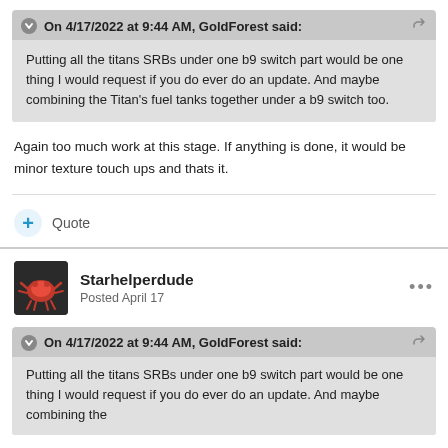On 4/17/2022 at 9:44 AM, GoldForest said:
Putting all the titans SRBs under one b9 switch part would be one thing I would request if you do ever do an update. And maybe combining the Titan's fuel tanks together under a b9 switch too.
Again too much work at this stage. If anything is done, it would be minor texture touch ups and thats it.
+ Quote
Starhelperdude
Posted April 17
On 4/17/2022 at 9:44 AM, GoldForest said:
Putting all the titans SRBs under one b9 switch part would be one thing I would request if you do ever do an update. And maybe combining the